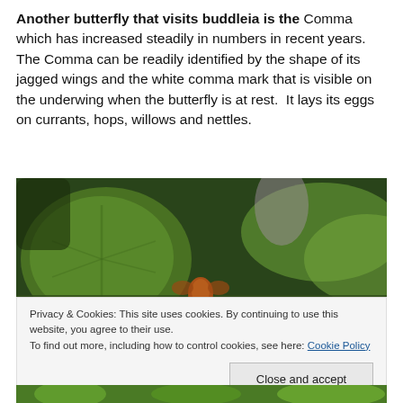Another butterfly that visits buddleia is the Comma which has increased steadily in numbers in recent years. The Comma can be readily identified by the shape of its jagged wings and the white comma mark that is visible on the underwing when the butterfly is at rest.  It lays its eggs on currants, hops, willows and nettles.
[Figure (photo): Close-up photograph of a small orange butterfly or insect resting among large green leaves, with blurred foliage in the background]
Privacy & Cookies: This site uses cookies. By continuing to use this website, you agree to their use.
To find out more, including how to control cookies, see here: Cookie Policy
[Close and accept button]
[Figure (photo): Partial view of another photograph at the bottom of the page showing green foliage]